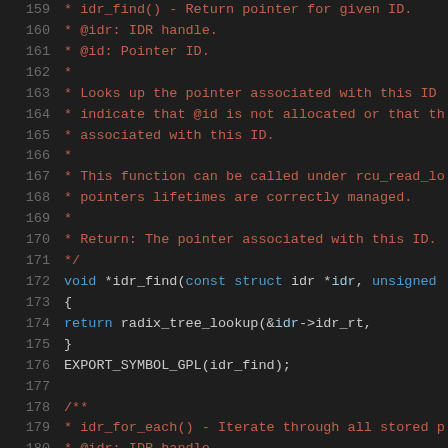Source code listing lines 159-180, C kernel code with idr_find() documentation and implementation, followed by idr_for_each() documentation start.